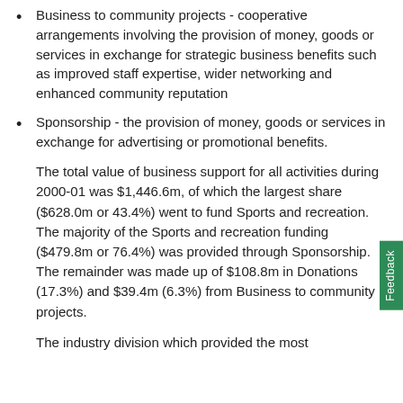Business to community projects - cooperative arrangements involving the provision of money, goods or services in exchange for strategic business benefits such as improved staff expertise, wider networking and enhanced community reputation
Sponsorship - the provision of money, goods or services in exchange for advertising or promotional benefits.
The total value of business support for all activities during 2000-01 was $1,446.6m, of which the largest share ($628.0m or 43.4%) went to fund Sports and recreation. The majority of the Sports and recreation funding ($479.8m or 76.4%) was provided through Sponsorship. The remainder was made up of $108.8m in Donations (17.3%) and $39.4m (6.3%) from Business to community projects.
The industry division which provided the most